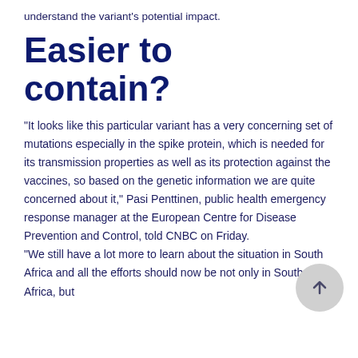understand the variant's potential impact.
Easier to contain?
"It looks like this particular variant has a very concerning set of mutations especially in the spike protein, which is needed for its transmission properties as well as its protection against the vaccines, so based on the genetic information we are quite concerned about it," Pasi Penttinen, public health emergency response manager at the European Centre for Disease Prevention and Control, told CNBC on Friday.
"We still have a lot more to learn about the situation in South Africa and all the efforts should now be not only in South Africa, but